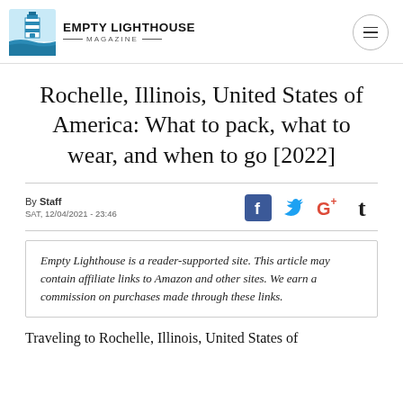Empty Lighthouse Magazine
Rochelle, Illinois, United States of America: What to pack, what to wear, and when to go [2022]
By Staff
SAT, 12/04/2021 - 23:46
Empty Lighthouse is a reader-supported site. This article may contain affiliate links to Amazon and other sites. We earn a commission on purchases made through these links.
Traveling to Rochelle, Illinois, United States of America? If so, here's what to pack. Read on to...